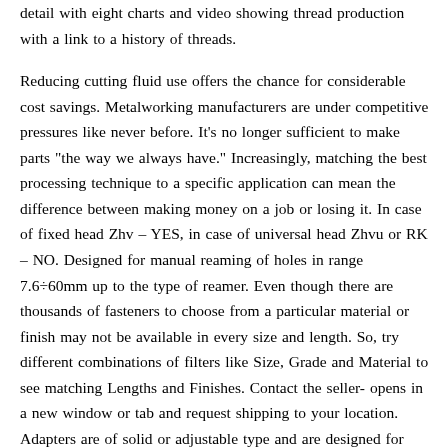detail with eight charts and video showing thread production with a link to a history of threads.
Reducing cutting fluid use offers the chance for considerable cost savings. Metalworking manufacturers are under competitive pressures like never before. It’s no longer sufficient to make parts “the way we always have.” Increasingly, matching the best processing technique to a specific application can mean the difference between making money on a job or losing it. In case of fixed head Zhv – YES, in case of universal head Zhvu or RK – NO. Designed for manual reaming of holes in range 7.6÷60mm up to the type of reamer. Even though there are thousands of fasteners to choose from a particular material or finish may not be available in every size and length. So, try different combinations of filters like Size, Grade and Material to see matching Lengths and Finishes. Contact the seller- opens in a new window or tab and request shipping to your location. Adapters are of solid or adjustable type and are designed for selected cross slide positions on the